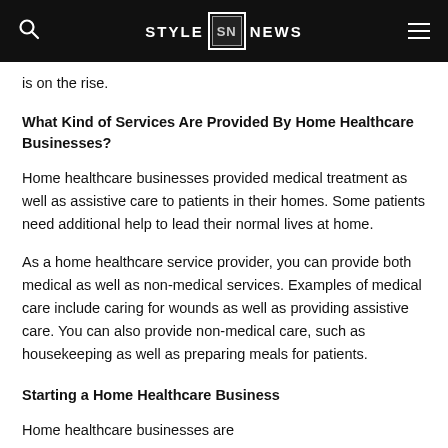STYLE SN NEWS
is on the rise.
What Kind of Services Are Provided By Home Healthcare Businesses?
Home healthcare businesses provided medical treatment as well as assistive care to patients in their homes. Some patients need additional help to lead their normal lives at home.
As a home healthcare service provider, you can provide both medical as well as non-medical services. Examples of medical care include caring for wounds as well as providing assistive care. You can also provide non-medical care, such as housekeeping as well as preparing meals for patients.
Starting a Home Healthcare Business
Home healthcare businesses are...